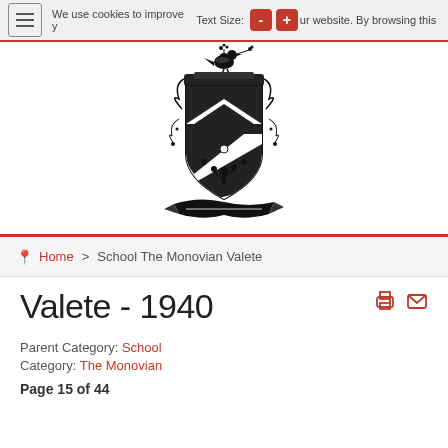We use cookies to improve your experience on our website. By browsing this
[Figure (logo): School crest/coat of arms with a bird on top holding a sprig, shield with chevron and decorative elements, and a banner below]
Home > School The Monovian Valete
Valete - 1940
Parent Category: School
Category: The Monovian
Page 15 of 44